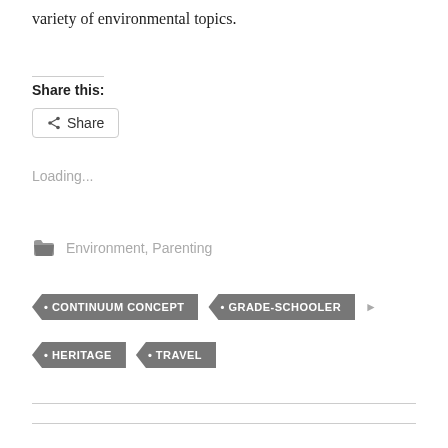variety of environmental topics.
Share this:
[Figure (other): Share button with share icon]
Loading...
Environment, Parenting
CONTINUUM CONCEPT
GRADE-SCHOOLER
HERITAGE
TRAVEL